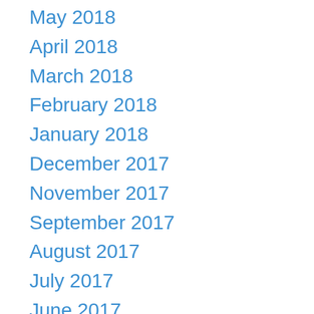May 2018
April 2018
March 2018
February 2018
January 2018
December 2017
November 2017
September 2017
August 2017
July 2017
June 2017
March 2017
February 2017
January 2017
September 2016